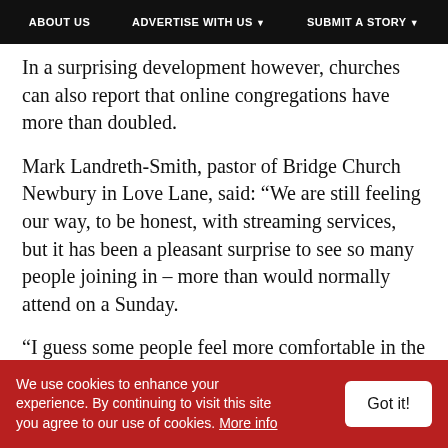ABOUT US   ADVERTISE WITH US   SUBMIT A STORY
In a surprising development however, churches can also report that online congregations have more than doubled.
Mark Landreth-Smith, pastor of Bridge Church Newbury in Love Lane, said: “We are still feeling our way, to be honest, with streaming services, but it has been a pleasant surprise to see so many people joining in – more than would normally attend on a Sunday.
“I guess some people feel more comfortable in the own home with a mug of coffee watching
We use cookies to enhance your experience. By continuing to visit this site you agree to our use of cookies. More info